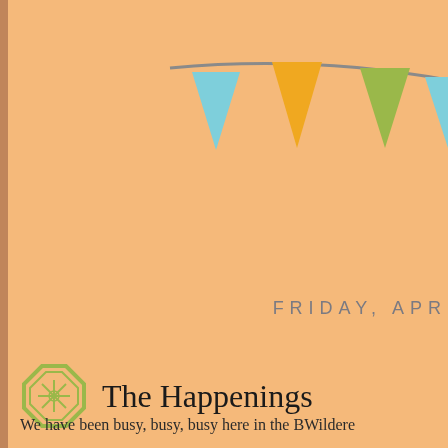[Figure (illustration): Decorative bunting banner with triangular flags in light blue, orange/yellow, and green colors, hung on a gray string across the upper portion of the page.]
FRIDAY, APRI
The Happenings
We have been busy, busy, busy here in the BWildere